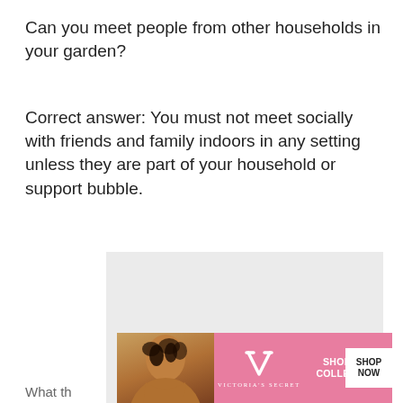Can you meet people from other households in your garden?
Correct answer: You must not meet socially with friends and family indoors in any setting unless they are part of your household or support bubble.
[Figure (other): Grey advertisement placeholder box with a CLOSE button in the bottom right corner]
[Figure (other): Victoria's Secret advertisement banner with a model photo on the left, VS logo and 'Victoria's Secret' text in the center on a pink background, 'SHOP THE COLLECTION' text, and a 'SHOP NOW' white button on the right]
What th